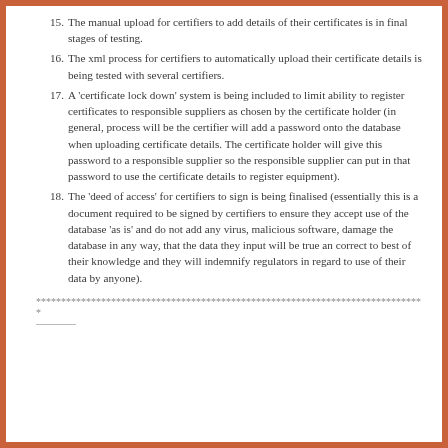15. The manual upload for certifiers to add details of their certificates is in final stages of testing.
16. The xml process for certifiers to automatically upload their certificate details is being tested with several certifiers.
17. A 'certificate lock down' system is being included to limit ability to register certificates to responsible suppliers as chosen by the certificate holder (in general, process will be the certifier will add a password onto the database when uploading certificate details. The certificate holder will give this password to a responsible supplier so the responsible supplier can put in that password to use the certificate details to register equipment).
18. The 'deed of access' for certifiers to sign is being finalised (essentially this is a document required to be signed by certifiers to ensure they accept use of the database 'as is' and do not add any virus, malicious software, damage the database in any way, that the data they input will be true an correct to best of their knowledge and they will indemnify regulators in regard to use of their data by anyone).
******************************************************************************